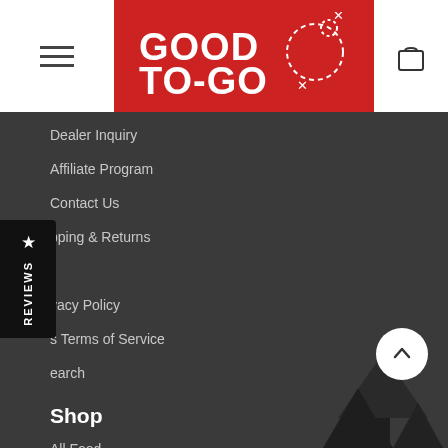[Figure (logo): Good To-Go logo on red background with dashed trail graphic]
Dealer Inquiry
Affiliate Program
Contact Us
Shipping & Returns
FAQ
Privacy Policy
Shopify Terms of Service
Search
Shop
All Food
Entrees
Breakfast
Weekender Packs